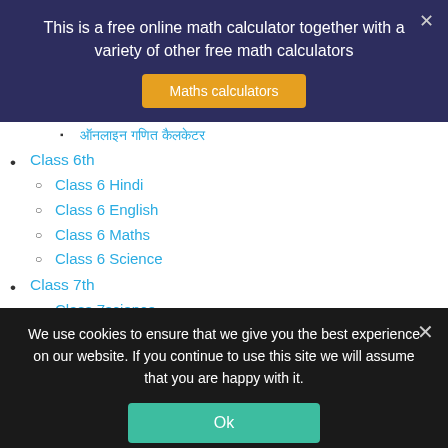This is a free online math calculator together with a variety of other free math calculators
Maths calculators
ऑनलाइन गणित कैलकेटर
Class 6th
Class 6 Hindi
Class 6 English
Class 6 Maths
Class 6 Science
Class 7th
Class 7science
Class 7 Maths
Class 7 English
We use cookies to ensure that we give you the best experience on our website. If you continue to use this site we will assume that you are happy with it.
Ok